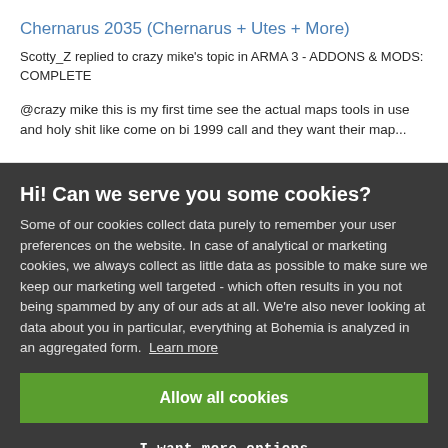Chernarus 2035 (Chernarus + Utes + More)
Scotty_Z replied to crazy mike's topic in ARMA 3 - ADDONS & MODS: COMPLETE
@crazy mike this is my first time see the actual maps tools in use and holy shit like come on bi 1999 call and they want their map...
Hi! Can we serve you some cookies?
Some of our cookies collect data purely to remember your user preferences on the website. In case of analytical or marketing cookies, we always collect as little data as possible to make sure we keep our marketing well targeted - which often results in you not being spammed by any of our ads at all. We're also never looking at data about you in particular, everything at Bohemia is analyzed in an aggregated form. Learn more
Allow all cookies
I want more options